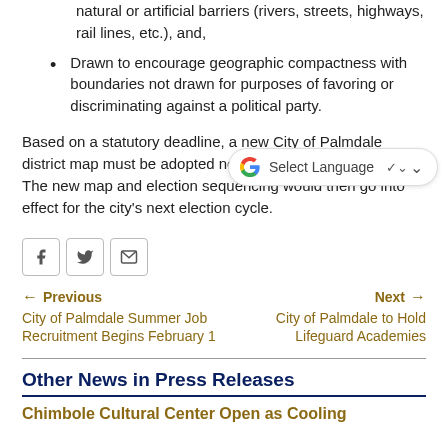Drawn with easily identifiable boundaries that follow natural or artificial barriers (rivers, streets, highways, rail lines, etc.), and,
Drawn to encourage geographic compactness with boundaries not drawn for purposes of favoring or discriminating against a political party.
Based on a statutory deadline, a new City of Palmdale district map must be adopted no later than April 17, 2022. The new map and election sequencing would then go into effect for the city's next election cycle.
Previous
City of Palmdale Summer Job Recruitment Begins February 1
Next
City of Palmdale to Hold Lifeguard Academies
Other News in Press Releases
Chimbole Cultural Center Open as Cooling